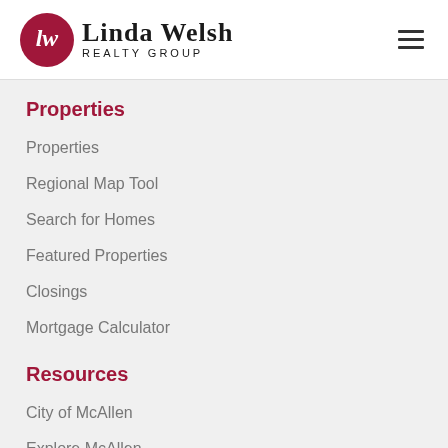[Figure (logo): Linda Welsh Realty Group logo with circular LW emblem and company name]
Properties
Properties
Regional Map Tool
Search for Homes
Featured Properties
Closings
Mortgage Calculator
Resources
City of McAllen
Explore McAllen
Austin Places and Events
School Resources
Relocation